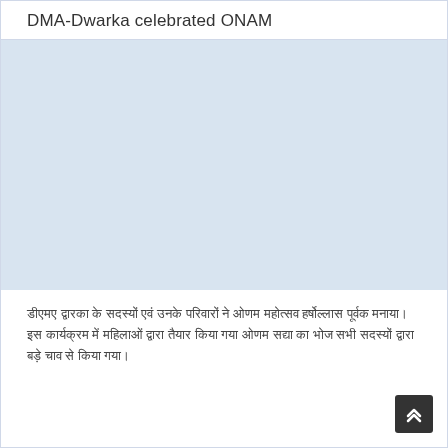DMA-Dwarka celebrated ONAM
[Figure (photo): Light blue/grey rectangular image area placeholder for ONAM celebration photo]
डीएमए द्वारका के सदस्यों एवं उनके परिवारों ने ओणम महोत्सव हर्षोल्लास पूर्वक मनाया। इस कार्यक्रम में महिलाओं द्वारा तैयार किया गया ओणम सद्या का भोज सभी सदस्यों द्वारा बड़े चाव से किया गया।